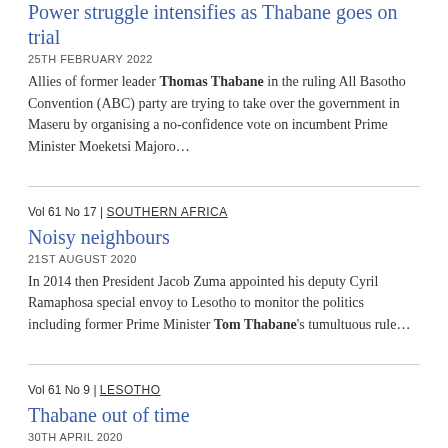Power struggle intensifies as Thabane goes on trial
25TH FEBRUARY 2022
Allies of former leader Thomas Thabane in the ruling All Basotho Convention (ABC) party are trying to take over the government in Maseru by organising a no-confidence vote on incumbent Prime Minister Moeketsi Majoro…
Vol 61 No 17 | SOUTHERN AFRICA
Noisy neighbours
21ST AUGUST 2020
In 2014 then President Jacob Zuma appointed his deputy Cyril Ramaphosa special envoy to Lesotho to monitor the politics including former Prime Minister Tom Thabane's tumultuous rule…
Vol 61 No 9 | LESOTHO
Thabane out of time
30TH APRIL 2020
The cornered Prime Minister Thomas Thabane continues to cling to